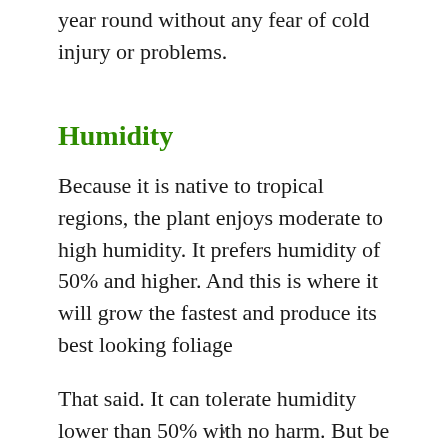year round without any fear of cold injury or problems.
Humidity
Because it is native to tropical regions, the plant enjoys moderate to high humidity. It prefers humidity of 50% and higher. And this is where it will grow the fastest and produce its best looking foliage
That said. It can tolerate humidity lower than 50% with no harm. But be careful going much lower
v